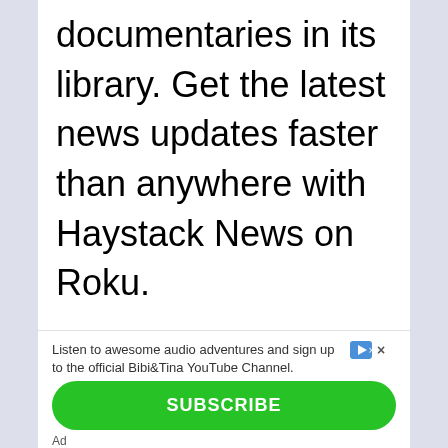documentaries in its library. Get the latest news updates faster than anywhere with Haystack News on Roku.
Listen to awesome audio adventures and sign up to the official Bibi&Tina YouTube Channel.
SUBSCRIBE
Ad